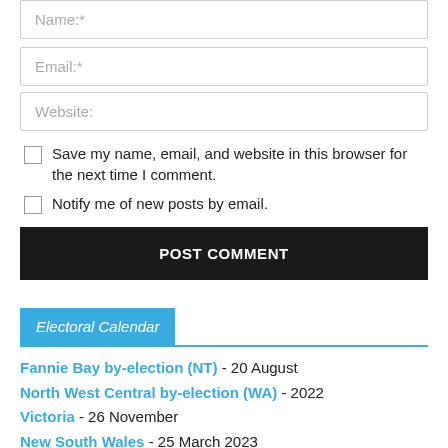Name:*
Email:*
Website:
Save my name, email, and website in this browser for the next time I comment.
Notify me of new posts by email.
POST COMMENT
Electoral Calendar
Fannie Bay by-election (NT) - 20 August
North West Central by-election (WA) - 2022
Victoria - 26 November
New South Wales - 25 March 2023